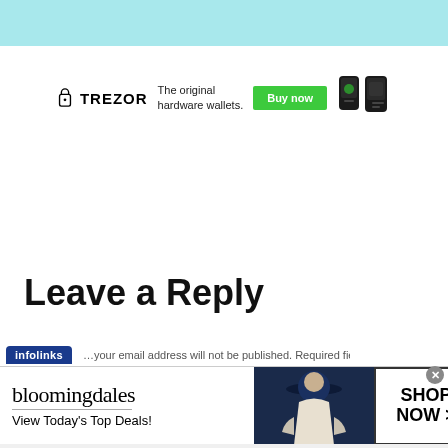[Figure (other): Teal/cyan horizontal banner bar at top of page]
[Figure (other): Trezor hardware wallet advertisement banner with logo, tagline 'The original hardware wallets.', green Buy now button, and product images of two hardware wallets]
Leave a Reply
[Figure (other): Infolinks navigation bar with dark blue badge reading 'infolinks' and partial text]
[Figure (other): Bloomingdales advertisement banner with logo, 'View Today's Top Deals!', model photo, and 'SHOP NOW >' button box]